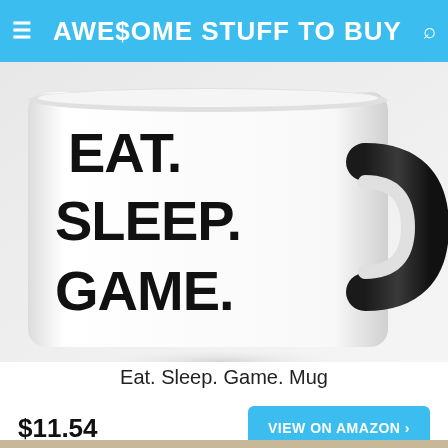AWE$OME STUFF TO BUY
[Figure (photo): A white ceramic mug with a black handle. The mug has bold black text reading 'EAT. SLEEP. GAME.' in large uppercase letters.]
Eat. Sleep. Game. Mug
$11.54
VIEW ON AMAZON >